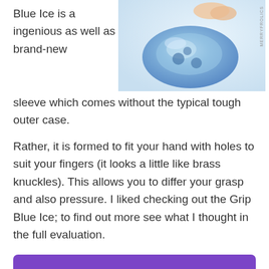Blue Ice is a ingenious as well as brand-new sleeve which comes without the typical tough outer case.
[Figure (photo): A blue translucent rubber/silicone sleeve shaped product being held by a hand, photographed against a white background. Watermark reads MERRYFROLICS.]
Rather, it is formed to fit your hand with holes to suit your fingers (it looks a little like brass knuckles). This allows you to differ your grasp and also pressure. I liked checking out the Grip Blue Ice; to find out more see what I thought in the full evaluation.
Check Today's Best Price Here
The Fleshlight Launch